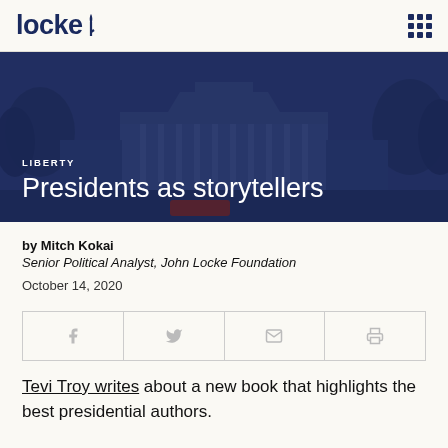locke
[Figure (photo): White House building in background with dark blue overlay. Category label 'LIBERTY' and title 'Presidents as storytellers' overlaid on image.]
LIBERTY
Presidents as storytellers
by Mitch Kokai
Senior Political Analyst, John Locke Foundation
October 14, 2020
[Figure (infographic): Social share bar with four buttons: Facebook (f), Twitter (bird), Email (envelope), Print (printer)]
Tevi Troy writes about a new book that highlights the best presidential authors.